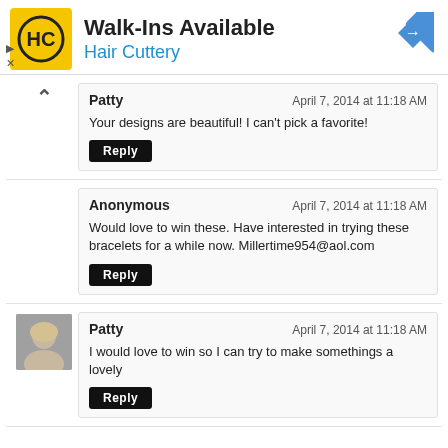[Figure (infographic): Hair Cuttery advertisement banner with logo, 'Walk-Ins Available' heading, 'Hair Cuttery' subtext, and navigation icon]
Patty
April 7, 2014 at 11:18 AM
Your designs are beautiful! I can't pick a favorite!
Reply
Anonymous
April 7, 2014 at 11:18 AM
Would love to win these. Have interested in trying these bracelets for a while now. Millertime954@aol.com
Reply
Patty
April 7, 2014 at 11:18 AM
I would love to win so I can try to make somethings a lovely
Reply